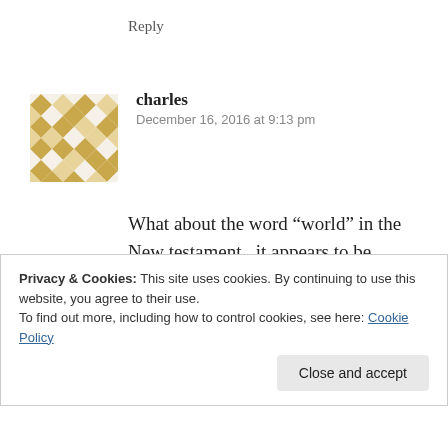Reply
[Figure (illustration): Quilted diamond-pattern avatar with gold and white checkerboard design]
charles
December 16, 2016 at 9:13 pm
What about the word “world” in the New testament , it appears to be translated from kosmos and aiŏn both with their own meaning .
The scriptures were inspired through greek and whatever ever other language
Privacy & Cookies: This site uses cookies. By continuing to use this website, you agree to their use.
To find out more, including how to control cookies, see here: Cookie Policy
Close and accept